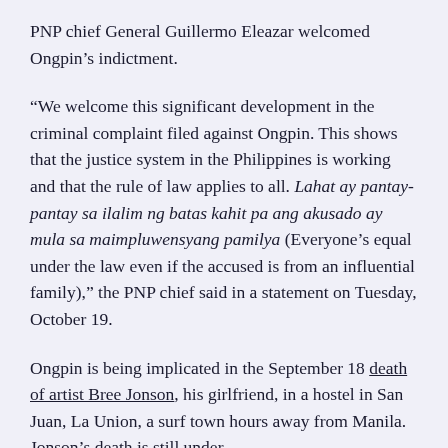PNP chief General Guillermo Eleazar welcomed Ongpin's indictment.
“We welcome this significant development in the criminal complaint filed against Ongpin. This shows that the justice system in the Philippines is working and that the rule of law applies to all. Lahat ay pantay-pantay sa ilalim ng batas kahit pa ang akusado ay mula sa maimpluwensyang pamilya (Everyone’s equal under the law even if the accused is from an influential family),” the PNP chief said in a statement on Tuesday, October 19.
Ongpin is being implicated in the September 18 death of artist Bree Jonson, his girlfriend, in a hostel in San Juan, La Union, a surf town hours away from Manila. Jonson’s death is still under